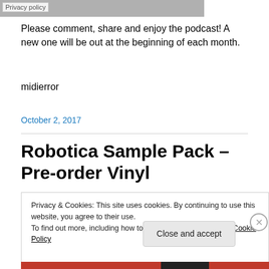[Figure (photo): Partial image at top with privacy policy label overlay]
Please comment, share and enjoy the podcast! A new one will be out at the beginning of each month.
midierror
October 2, 2017
Robotica Sample Pack – Pre-order Vinyl
Privacy & Cookies: This site uses cookies. By continuing to use this website, you agree to their use.
To find out more, including how to control cookies, see here: Cookie Policy
Close and accept